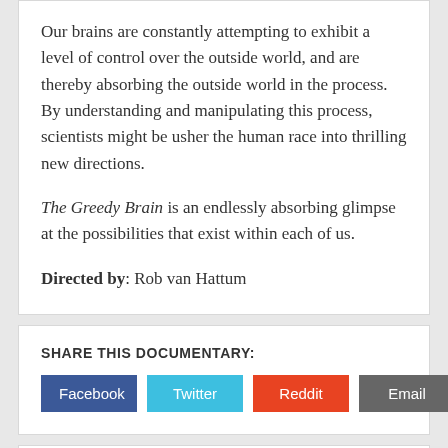Our brains are constantly attempting to exhibit a level of control over the outside world, and are thereby absorbing the outside world in the process. By understanding and manipulating this process, scientists might be usher the human race into thrilling new directions.
The Greedy Brain is an endlessly absorbing glimpse at the possibilities that exist within each of us.
Directed by: Rob van Hattum
SHARE THIS DOCUMENTARY:
Facebook | Twitter | Reddit | Email
MORE GREAT DOCUMENTARIES